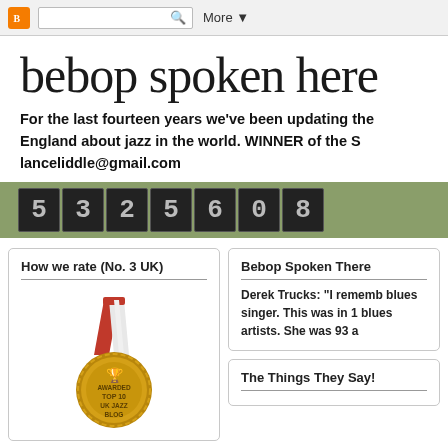Blogger | [search box] | More
bebop spoken here
For the last fourteen years we've been updating the England about jazz in the world. WINNER of the S lanceliddle@gmail.com
[Figure (other): Hit counter showing digits: 5 3 2 5 6 0 8 on a dark green/olive background]
How we rate (No. 3 UK)
[Figure (illustration): Gold medal with red and white ribbon, awarded Top 10 UK Jazz Blog]
Bebop Spoken There
Derek Trucks: "I rememb blues singer. This was in blues artists. She was 93 a
The Things They Say!